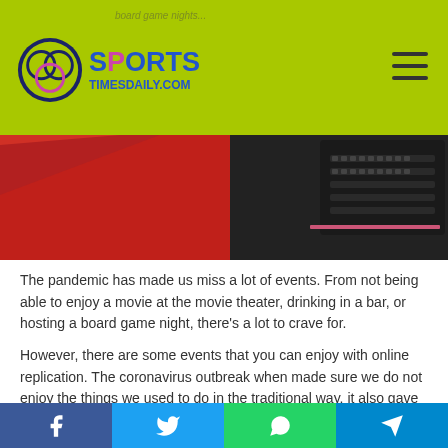SportsTimes Daily - board game nights
[Figure (photo): Laptop keyboard on red surface, partial view of header banner for article about board game nights]
The pandemic has made us miss a lot of events. From not being able to enjoy a movie at the movie theater, drinking in a bar, or hosting a board game night, there's a lot to crave for.
However, there are some events that you can enjoy with online replication. The coronavirus outbreak when made sure we do not enjoy the things we used to do in the traditional way, it also gave space to innovation.
From hoisting virtual birthday parties to giving interviews
Facebook | Twitter | WhatsApp | Telegram